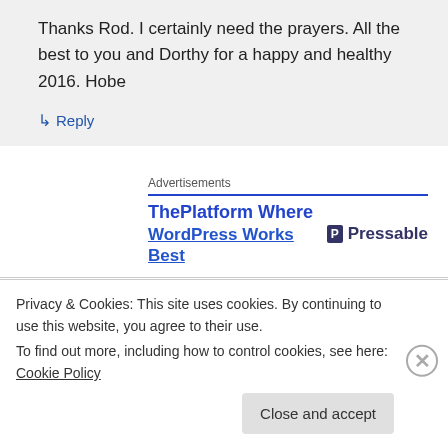Thanks Rod. I certainly need the prayers. All the best to you and Dorthy for a happy and healthy 2016. Hobe
↳ Reply
Advertisements
ThePlatform Where WordPress Works Best
Pressable
Mayda Sharrow & Flip LoGuidice on December 15, 2015 at 4:10 pm
Privacy & Cookies: This site uses cookies. By continuing to use this website, you agree to their use.
To find out more, including how to control cookies, see here: Cookie Policy
Close and accept